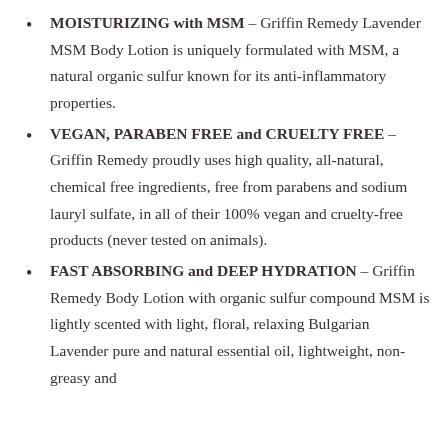MOISTURIZING with MSM – Griffin Remedy Lavender MSM Body Lotion is uniquely formulated with MSM, a natural organic sulfur known for its anti-inflammatory properties.
VEGAN, PARABEN FREE and CRUELTY FREE – Griffin Remedy proudly uses high quality, all-natural, chemical free ingredients, free from parabens and sodium lauryl sulfate, in all of their 100% vegan and cruelty-free products (never tested on animals).
FAST ABSORBING and DEEP HYDRATION – Griffin Remedy Body Lotion with organic sulfur compound MSM is lightly scented with light, floral, relaxing Bulgarian Lavender pure and natural essential oil, lightweight, non-greasy and